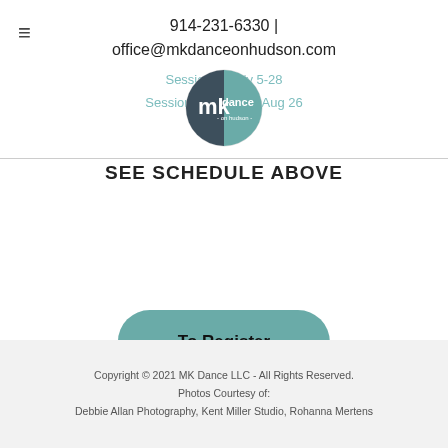914-231-6330 | office@mkdanceonhudson.com
[Figure (logo): MK Dance on Hudson circular logo with teal and dark grey colors]
Session 1: July 5-28
Session 2: July 31 - Aug 26
SEE SCHEDULE ABOVE
To Register
Copyright © 2021 MK Dance LLC - All Rights Reserved.
Photos Courtesy of:
Debbie Allan Photography, Kent Miller Studio, Rohanna Mertens